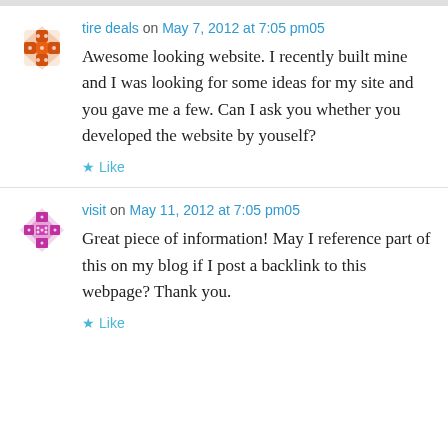tire deals on May 7, 2012 at 7:05 pm05
Awesome looking website. I recently built mine and I was looking for some ideas for my site and you gave me a few. Can I ask you whether you developed the website by youself?
Like
visit on May 11, 2012 at 7:05 pm05
Great piece of information! May I reference part of this on my blog if I post a backlink to this webpage? Thank you.
Like